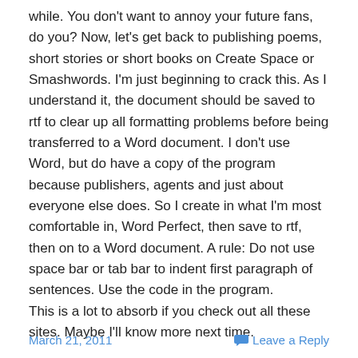while. You don't want to annoy your future fans, do you? Now, let's get back to publishing poems, short stories or short books on Create Space or Smashwords. I'm just beginning to crack this. As I understand it, the document should be saved to rtf to clear up all formatting problems before being transferred to a Word document. I don't use Word, but do have a copy of the program because publishers, agents and just about everyone else does. So I create in what I'm most comfortable in, Word Perfect, then save to rtf, then on to a Word document. A rule: Do not use space bar or tab bar to indent first paragraph of sentences. Use the code in the program.
This is a lot to absorb if you check out all these sites. Maybe I'll know more next time.
March 21, 2011    Leave a Reply